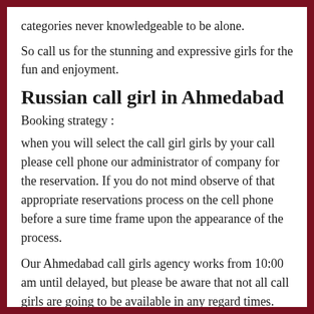categories never knowledgeable to be alone.
So call us for the stunning and expressive girls for the fun and enjoyment.
Russian call girl in Ahmedabad
Booking strategy :
when you will select the call girl girls by your call please cell phone our administrator of company for the reservation. If you do not mind observe of that appropriate reservations process on the cell phone before a sure time frame upon the appearance of the process.
Our Ahmedabad call girls agency works from 10:00 am until delayed, but please be aware that not all call girls are going to be available in any regard times.